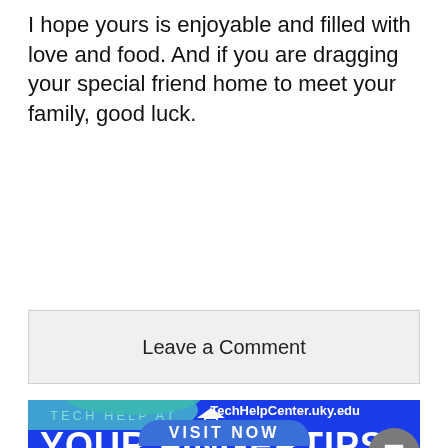I hope yours is enjoyable and filled with love and food. And if you are dragging your special friend home to meet your family, good luck.
opinions@kykernel.com
Leave a Comment
[Figure (illustration): Blue advertisement banner for UK Tech Help Center. Text reads: TECH HELP AT [logo] YOUR FINGERTIPS with repeated echo text, TechHelpCenter.uky.edu, and VISIT NOW button. A teal hand illustration is visible at the bottom. Two gray circular buttons (comment bubble and thumbs up) overlap the right edge.]